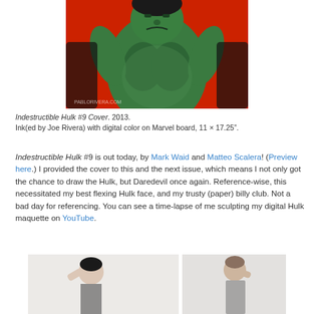[Figure (illustration): Indestructible Hulk #9 comic book cover artwork showing a green muscular figure (Hulk) on a red background with dark hands/figures at the sides, watermark 'PABLORIVERA.COM' at bottom left]
Indestructible Hulk #9 Cover. 2013.
Ink(ed by Joe Rivera) with digital color on Marvel board, 11 × 17.25".
Indestructible Hulk #9 is out today, by Mark Waid and Matteo Scalera! (Preview here.) I provided the cover to this and the next issue, which means I not only got the chance to draw the Hulk, but Daredevil once again. Reference-wise, this necessitated my best flexing Hulk face, and my trusty (paper) billy club. Not a bad day for referencing. You can see a time-lapse of me sculpting my digital Hulk maquette on YouTube.
[Figure (photo): Two small thumbnail photos at the bottom of the page showing people, likely reference photos for drawing]
[Figure (photo): Second thumbnail photo at bottom right showing a person]